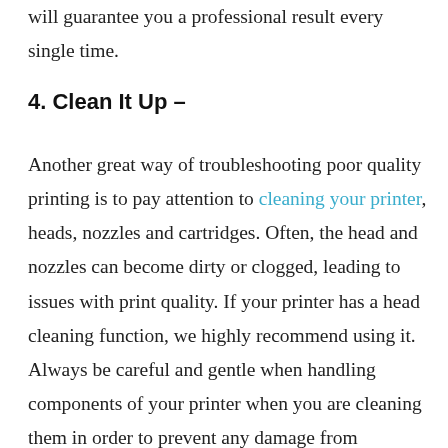will guarantee you a professional result every single time.
4. Clean It Up –
Another great way of troubleshooting poor quality printing is to pay attention to cleaning your printer, heads, nozzles and cartridges. Often, the head and nozzles can become dirty or clogged, leading to issues with print quality. If your printer has a head cleaning function, we highly recommend using it. Always be careful and gentle when handling components of your printer when you are cleaning them in order to prevent any damage from occurring. Always look at your printer manual for clear instructions on how to